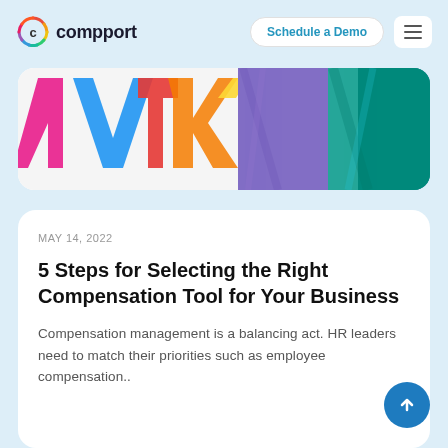Compport — Schedule a Demo
[Figure (photo): Colorful abstract HR/people illustration on left side and purple fuzzy texture on right side, partially cropped]
MAY 14, 2022
5 Steps for Selecting the Right Compensation Tool for Your Business
Compensation management is a balancing act. HR leaders need to match their priorities such as employee compensation..